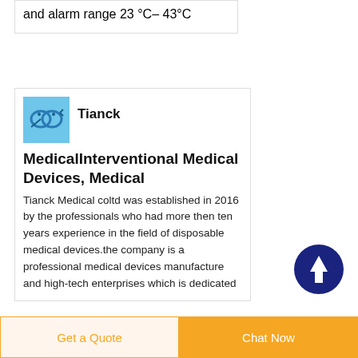and alarm range 23 °C– 43°C
[Figure (logo): Tianck Medical company logo - light blue square with abstract design]
Tianck
MedicalInterventional Medical Devices, Medical
Tianck Medical coltd was established in 2016 by the professionals who had more then ten years experience in the field of disposable medical devices.the company is a professional medical devices manufacture and high-tech enterprises which is dedicated
[Figure (illustration): Dark blue circular scroll-to-top button with upward arrow icon]
Get a Quote
Chat Now